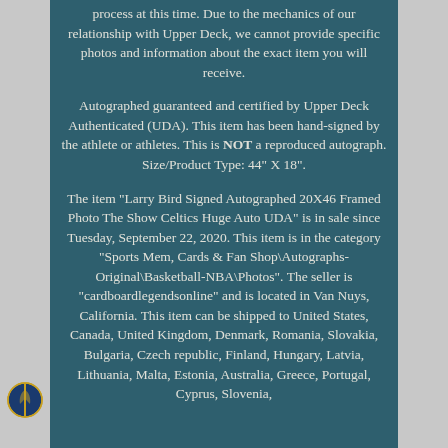process at this time. Due to the mechanics of our relationship with Upper Deck, we cannot provide specific photos and information about the exact item you will receive.
Autographed guaranteed and certified by Upper Deck Authenticated (UDA). This item has been hand-signed by the athlete or athletes. This is NOT a reproduced autograph. Size/Product Type: 44" X 18".
The item "Larry Bird Signed Autographed 20X46 Framed Photo The Show Celtics Huge Auto UDA" is in sale since Tuesday, September 22, 2020. This item is in the category "Sports Mem, Cards & Fan Shop\Autographs-Original\Basketball-NBA\Photos". The seller is "cardboardlegendsonline" and is located in Van Nuys, California. This item can be shipped to United States, Canada, United Kingdom, Denmark, Romania, Slovakia, Bulgaria, Czech republic, Finland, Hungary, Latvia, Lithuania, Malta, Estonia, Australia, Greece, Portugal, Cyprus, Slovenia,